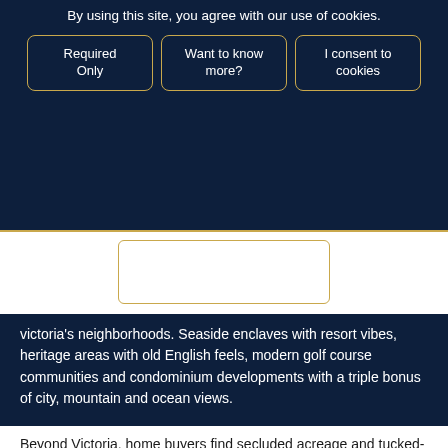By using this site, you agree with our use of cookies.
Required Only
Want to know more?
I consent to cookies
victoria's neighborhoods. Seaside enclaves with resort vibes, heritage areas with old English feels, modern golf course communities and condominium developments with a triple bonus of city, mountain and ocean views.
Beyond Victoria, home buyers find secluded acreage and tucked-away estates in places like Cowichan Valley, about 40 minutes north. The valley has become a top culinary destination with dozens of wineries and a dynamic slow-food culture.